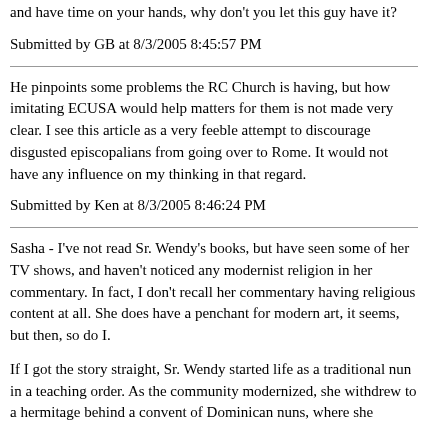and have time on your hands, why don't you let this guy have it?
Submitted by GB at 8/3/2005 8:45:57 PM
He pinpoints some problems the RC Church is having, but how imitating ECUSA would help matters for them is not made very clear. I see this article as a very feeble attempt to discourage disgusted episcopalians from going over to Rome. It would not have any influence on my thinking in that regard.
Submitted by Ken at 8/3/2005 8:46:24 PM
Sasha - I've not read Sr. Wendy's books, but have seen some of her TV shows, and haven't noticed any modernist religion in her commentary. In fact, I don't recall her commentary having religious content at all. She does have a penchant for modern art, it seems, but then, so do I.
If I got the story straight, Sr. Wendy started life as a traditional nun in a teaching order. As the community modernized, she withdrew to a hermitage behind a convent of Dominican nuns, where she